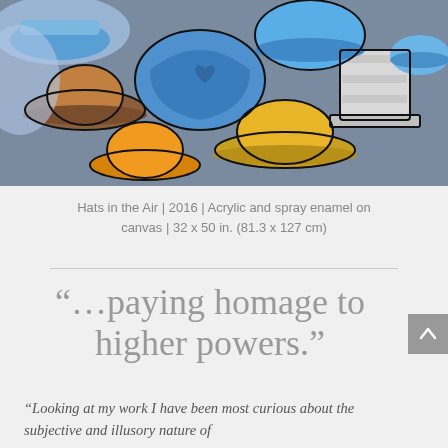[Figure (photo): Colorful painting of multiple hats floating in the air against a grey background, rendered in blue, orange, and brown tones with bold outlines. Acrylic and spray enamel on canvas.]
Hats in the Air | 2016 | Acrylic and spray enamel on canvas | 32 x 50 in. (81.3 x 127 cm)
“…paying homage to higher powers.”
“Looking at my work I have been most curious about the subjective and illusory nature of